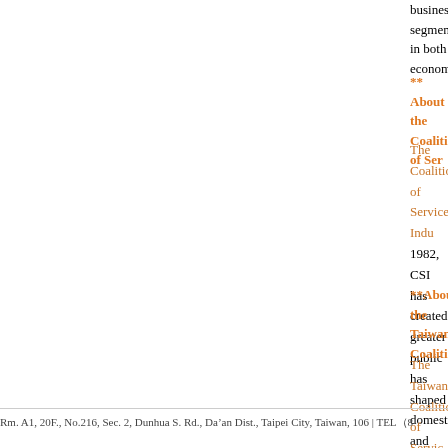business segment in both economies
** About the Coalition of Ser
The Coalition of Services Indu 1982, CSI has created greater public has shaped domestic and internation business in all 50 states and the Dist
**About the Taiwan Coalition
The Taiwan Coalition of Servic services, which account for almost 7 organizations, and plays an importan
Rm. A1, 20F., No.216, Sec. 2, Dunhua S. Rd., Da’an Dist., Taipei City, Taiwan, 106 | TEL（8